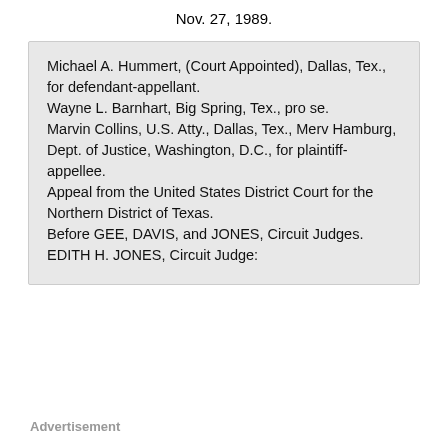Nov. 27, 1989.
Michael A. Hummert, (Court Appointed), Dallas, Tex., for defendant-appellant.
Wayne L. Barnhart, Big Spring, Tex., pro se.
Marvin Collins, U.S. Atty., Dallas, Tex., Merv Hamburg, Dept. of Justice, Washington, D.C., for plaintiff-appellee.
Appeal from the United States District Court for the Northern District of Texas.
Before GEE, DAVIS, and JONES, Circuit Judges.
EDITH H. JONES, Circuit Judge:
Advertisement